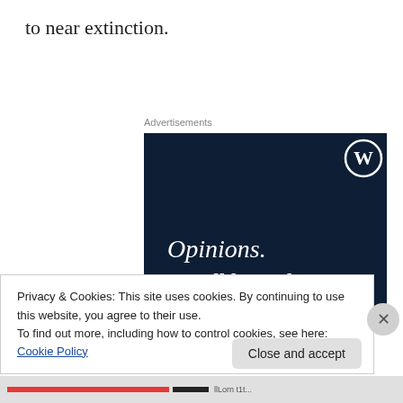to near extinction.
Advertisements
[Figure (illustration): WordPress advertisement banner with dark navy background. WordPress logo (circle W) in top right. Text reads 'Opinions. We all have them!' in white serif font. Pink rounded button and grey circle at bottom.]
Privacy & Cookies: This site uses cookies. By continuing to use this website, you agree to their use.
To find out more, including how to control cookies, see here: Cookie Policy
Close and accept